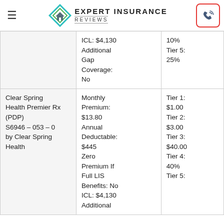Expert Insurance Reviews
| Plan Name | Plan Details | Drug Tiers |
| --- | --- | --- |
|  | ICL: $4,130
Additional Gap Coverage: No | 10%
Tier 5: 25% |
| Clear Spring Health Premier Rx (PDP)
S6946 – 053 – 0
by Clear Spring Health | Monthly Premium: $13.80
Annual Deductable: $445
Zero Premium If Full LIS Benefits: No
ICL: $4,130
Additional | Tier 1: $1.00
Tier 2: $3.00
Tier 3: $40.00
Tier 4: 40%
Tier 5: |